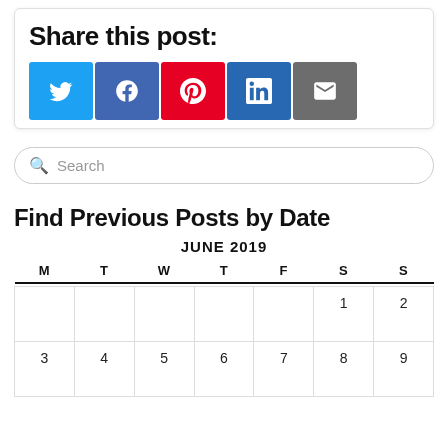Share this post:
[Figure (infographic): Social share buttons: Twitter (blue), Facebook (purple-blue), Pinterest (red), LinkedIn (blue), Email (gray)]
Search
Find Previous Posts by Date
| M | T | W | T | F | S | S |
| --- | --- | --- | --- | --- | --- | --- |
|  |  |  |  |  | 1 | 2 |
| 3 | 4 | 5 | 6 | 7 | 8 | 9 |